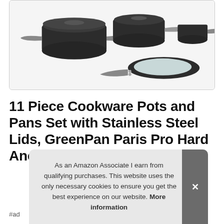[Figure (photo): Product photo of GreenPan Paris Pro 11-piece cookware set with hard anodized pots and pans with stainless steel lids, shown on white background]
11 Piece Cookware Pots and Pans Set with Stainless Steel Lids, GreenPan Paris Pro Hard Anodized Healthy Ce… Di…
As an Amazon Associate I earn from qualifying purchases. This website uses the only necessary cookies to ensure you get the best experience on our website. More information
#ad